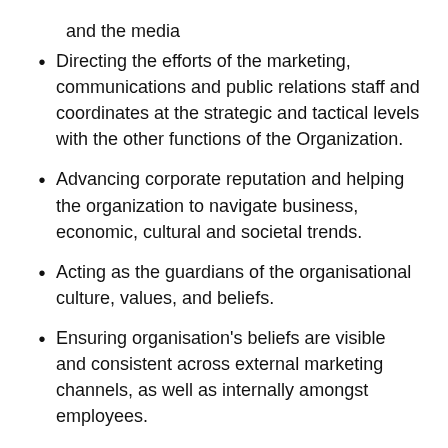and the media
Directing the efforts of the marketing, communications and public relations staff and coordinates at the strategic and tactical levels with the other functions of the Organization.
Advancing corporate reputation and helping the organization to navigate business, economic, cultural and societal trends.
Acting as the guardians of the organisational culture, values, and beliefs.
Ensuring organisation's beliefs are visible and consistent across external marketing channels, as well as internally amongst employees.
Foster positive community relations through various initiatives and CSR programs and coordinate